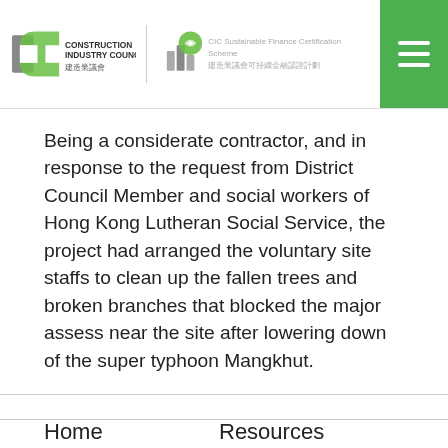Construction Industry Council | CIC Sustainable Finance Certification Scheme 建造業議會可持續金融認證計劃
Being a considerate contractor, and in response to the request from District Council Member and social workers of Hong Kong Lutheran Social Service, the project had arranged the voluntary site staffs to clean up the fallen trees and broken branches that blocked the major assess near the site after lowering down of the super typhoon Mangkhut.
Home
Resources
About
Contact Us